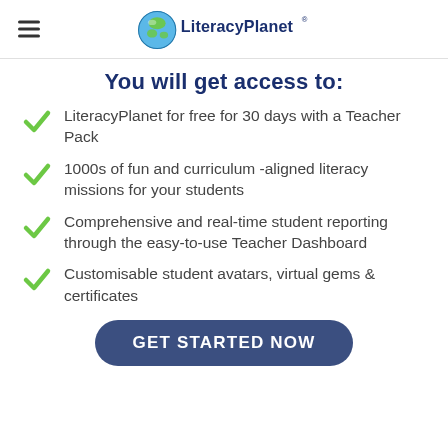LiteracyPlanet®
You will get access to:
LiteracyPlanet for free for 30 days with a Teacher Pack
1000s of fun and curriculum -aligned literacy missions for your students
Comprehensive and real-time student reporting through the easy-to-use Teacher Dashboard
Customisable student avatars, virtual gems & certificates
GET STARTED NOW